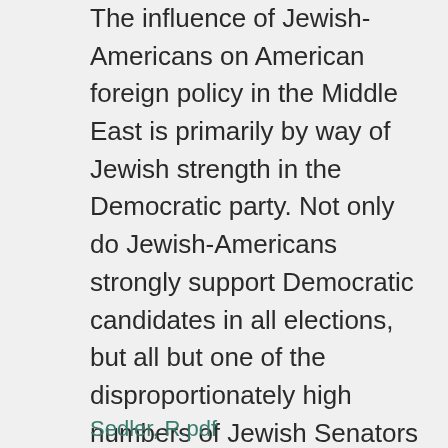The influence of Jewish-Americans on American foreign policy in the Middle East is primarily by way of Jewish strength in the Democratic party. Not only do Jewish-Americans strongly support Democratic candidates in all elections, but all but one of the disproportionately high numbers of Jewish Senators and Representatives in Congress are Democrats. The Republicans are also strong supporters of Israel, because many conservative Christians, an important component of Republican voters, bel
Sedler, R.pdf